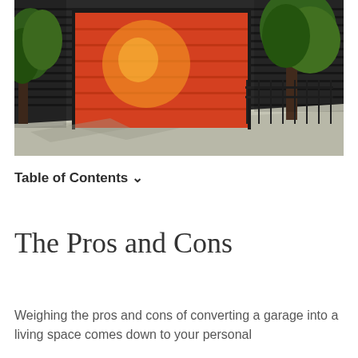[Figure (photo): A modern building with dark horizontal siding, featuring a bright red/orange roll-up garage door. Green trees are visible on both sides, with a concrete driveway in front and a metal fence to the right.]
Table of Contents ˅
The Pros and Cons
Weighing the pros and cons of converting a garage into a living space comes down to your personal